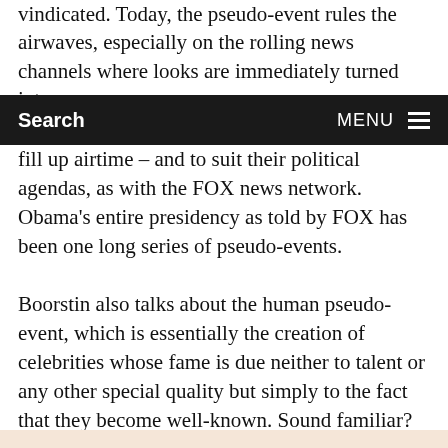vindicated. Today, the pseudo-event rules the airwaves, especially on the rolling news channels where looks are immediately turned into news
Search    MENU
fill up airtime – and to suit their political agendas, as with the FOX news network. Obama's entire presidency as told by FOX has been one long series of pseudo-events.

Boorstin also talks about the human pseudo-event, which is essentially the creation of celebrities whose fame is due neither to talent or any other special quality but simply to the fact that they become well-known. Sound familiar? Boorstin nailed this before the emergence of reality television and the full flowering of celebrity culture.  He clearly put his finger on some cultural trends which have really gone stratospheric in recent years.